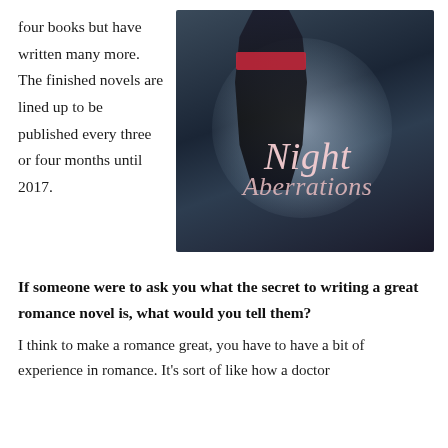four books but have written many more. The finished novels are lined up to be published every three or four months until 2017.
[Figure (illustration): Book cover for 'Night Aberrations' showing a woman in a black gown with a red belt standing in front of a large glowing circle, dark atmospheric background, title in cursive script.]
If someone were to ask you what the secret to writing a great romance novel is, what would you tell them?
I think to make a romance great, you have to have a bit of experience in romance. It's sort of like how a doctor